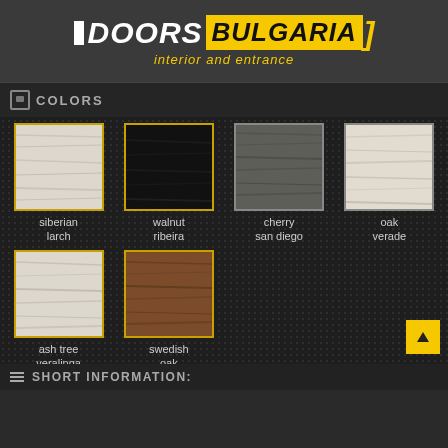[Figure (logo): Doors Bulgaria logo with white square, DOORS in white italic, BULGARIA in black on yellow background, bracket in yellow, tagline 'interior and entrance' in yellow italic]
COLORS
[Figure (other): Color swatches grid showing 6 wood/finish samples: siberian larch (light white wood), walnut ribeira (dark black), cherry san diego (dark grey), oak verade (light beige wood), ash tree veralinga (light white wood), swedish oak (brown walnut wood)]
SHORT INFORMATION: